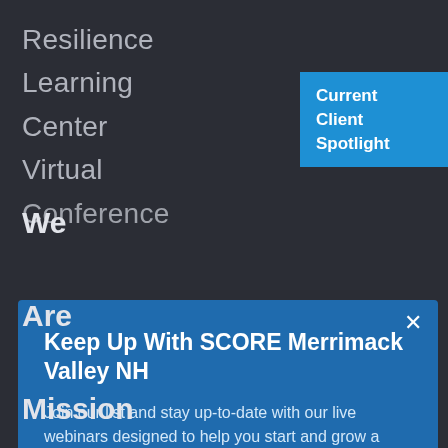Resilience
Learning
Center
Virtual
Conference
Current Client Spotlight
Keep Up With SCORE Merrimack Valley NH
Join our list and stay up-to-date with our live webinars designed to help you start and grow a successful business.
email address  SUBMIT
We

Are

Mission